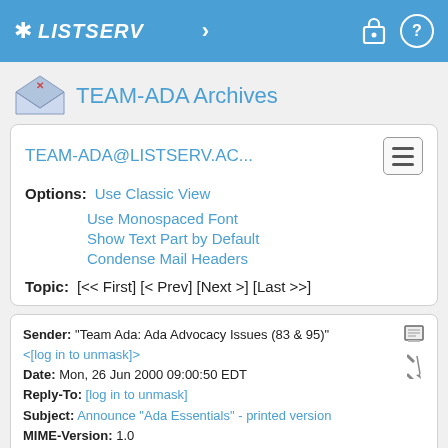LISTSERV
TEAM-ADA Archives
TEAM-ADA@LISTSERV.AC...
Options: Use Classic View
Use Monospaced Font
Show Text Part by Default
Condense Mail Headers
Topic: [<< First] [< Prev] [Next >] [Last >>]
Sender: "Team Ada: Ada Advocacy Issues (83 & 95)" <[log in to unmask]>
Date: Mon, 26 Jun 2000 09:00:50 EDT
Reply-To: [log in to unmask]
Subject: Announce "Ada Essentials" - printed version
MIME-Version: 1.0
X-cc: [log in to unmask]